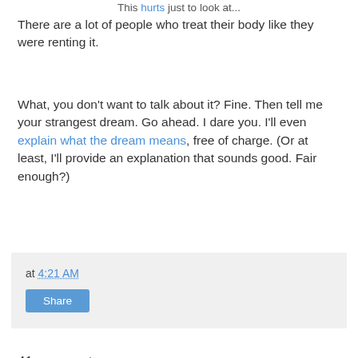This hurts just to look at...
There are a lot of people who treat their body like they were renting it.
What, you don't want to talk about it? Fine. Then tell me your strangest dream. Go ahead. I dare you. I'll even explain what the dream means, free of charge. (Or at least, I'll provide an explanation that sounds good. Fair enough?)
at 4:21 AM
Share
41 comments:
Crabby McSlacker  July 29, 2008 at 6:31 AM
Excellent point!
For some reason, it's really hard for many folks to "get it"